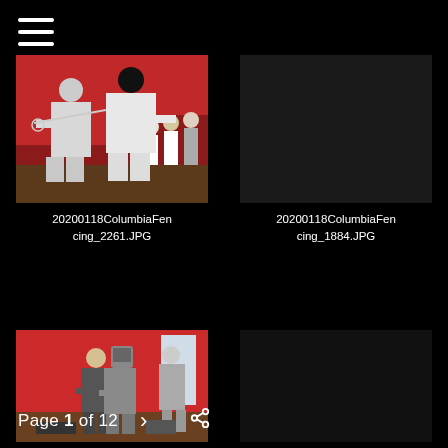[Figure (photo): Menu/hamburger icon at top left, white lines on black background]
[Figure (photo): Fencing match photo showing two fencers in white gear at Columbia Fencing event, red gym background with spectators seated]
20200118ColumbiaFencing_2261.JPG
[Figure (photo): Second fencing photo placeholder - 20200118ColumbiaFencing_1884.JPG, dark/empty thumbnail]
20200118ColumbiaFencing_1884.JPG
[Figure (photo): Fencing participants handling equipment in red gym, people in fencing gear and coaches on floor]
Page 1 of 12  >  share